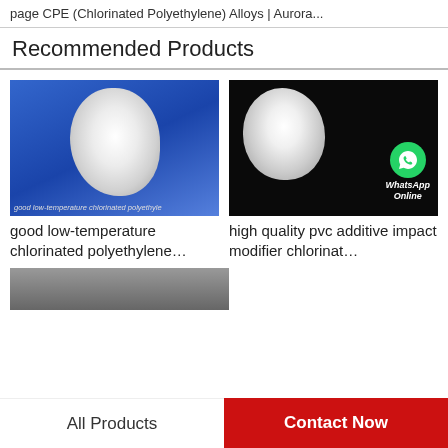page CPE (Chlorinated Polyethylene) Alloys | Aurora...
Recommended Products
[Figure (photo): White powder (chlorinated polyethylene) on blue background with caption 'good low-temperature chlorinated polyethyle']
good low-temperature chlorinated polyethylene…
[Figure (photo): White powder on black background with WhatsApp Online overlay badge]
high quality pvc additive impact modifier chlorinat…
[Figure (photo): Dark grey/black product image partially visible at bottom]
All Products
Contact Now